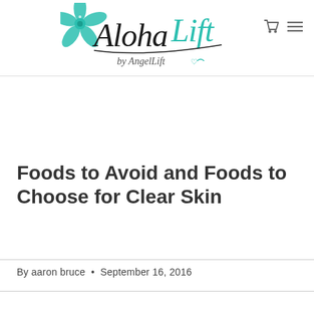[Figure (logo): Aloha Lift by AngelLift brand logo with teal hibiscus flower, black cursive 'Aloha' text, teal cursive 'Lift' text, and italic 'by AngelLift' subtitle with small heart and leaf icon]
Foods to Avoid and Foods to Choose for Clear Skin
By aaron bruce  •  September 16, 2016